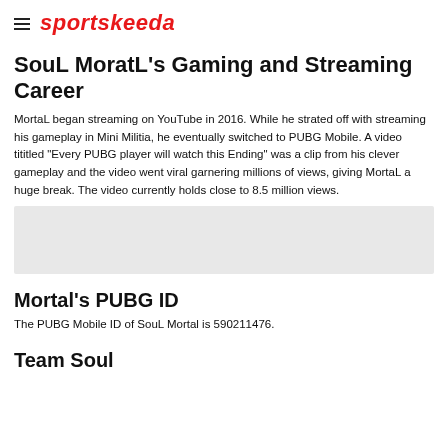sportskeeda
SouL MoratL's Gaming and Streaming Career
MortaL began streaming on YouTube in 2016. While he strated off with streaming his gameplay in Mini Militia, he eventually switched to PUBG Mobile. A video tititled "Every PUBG player will watch this Ending" was a clip from his clever gameplay and the video went viral garnering millions of views, giving MortaL a huge break. The video currently holds close to 8.5 million views.
[Figure (other): Gray placeholder box for an embedded image or video]
Mortal's PUBG ID
The PUBG Mobile ID of SouL Mortal is 590211476.
Team Soul